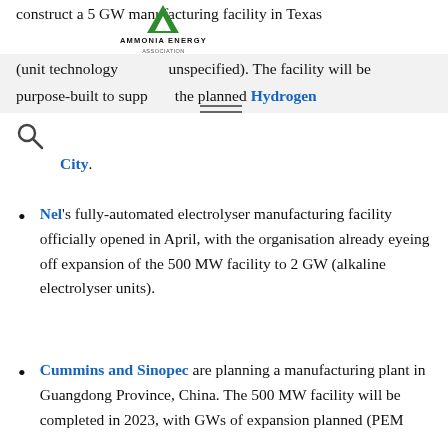construct a 5 GW manufacturing facility in Texas (unit technology unspecified). The facility will be purpose-built to supply the planned Hydrogen City.
Nel's fully-automated electrolyser manufacturing facility officially opened in April, with the organisation already eyeing off expansion of the 500 MW facility to 2 GW (alkaline electrolyser units).
Cummins and Sinopec are planning a manufacturing plant in Guangdong Province, China. The 500 MW facility will be completed in 2023, with GWs of expansion planned (PEM